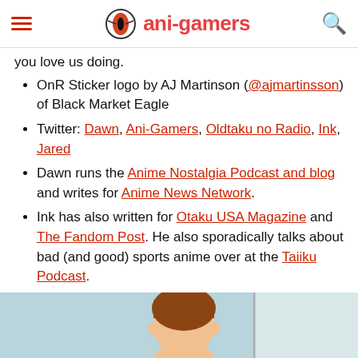ani-gamers
you love us doing.
OnR Sticker logo by AJ Martinson (@ajmartinsson) of Black Market Eagle
Twitter: Dawn, Ani-Gamers, Oldtaku no Radio, Ink, Jared
Dawn runs the Anime Nostalgia Podcast and blog and writes for Anime News Network.
Ink has also written for Otaku USA Magazine and The Fandom Post. He also sporadically talks about bad (and good) sports anime over at the Taiiku Podcast.
Jared also writes for The Electrum Edition and has written for Wave Motion Cannon.
[Figure (illustration): Anime character illustration at the bottom of the page, partial view showing a character with brown hair against a blue/teal background]